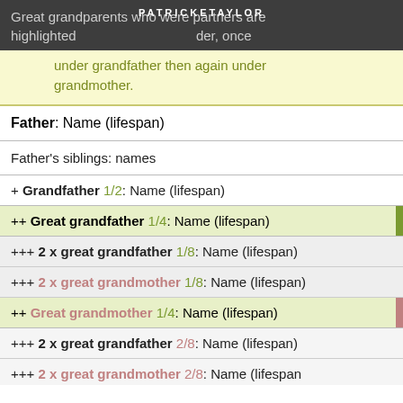Great grandparents who were partners are highlighted PATRICKETAYLOR der, once under grandfather then again under grandmother.
under grandfather then again under grandmother.
Father: Name (lifespan)
Father's siblings: names
+ Grandfather 1/2: Name (lifespan)
++ Great grandfather 1/4: Name (lifespan)
+++ 2 x great grandfather 1/8: Name (lifespan)
+++ 2 x great grandmother 1/8: Name (lifespan)
++ Great grandmother 1/4: Name (lifespan)
+++ 2 x great grandfather 2/8: Name (lifespan)
+++ 2 x great grandmother 2/8: Name (lifespan)